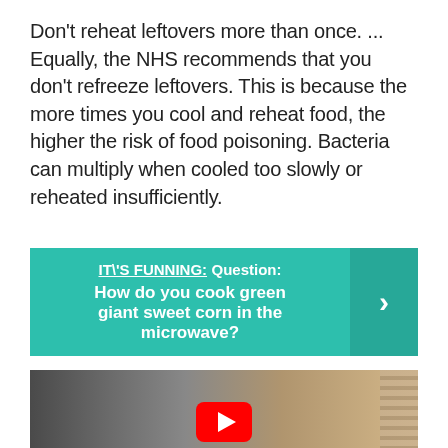Don't reheat leftovers more than once. ... Equally, the NHS recommends that you don't refreeze leftovers. This is because the more times you cool and reheat food, the higher the risk of food poisoning. Bacteria can multiply when cooled too slowly or reheated insufficiently.
IT\'S FUNNING: Question: How do you cook green giant sweet corn in the microwave?
[Figure (photo): A person working in a kitchen, with kitchen equipment visible. A YouTube play button overlay is shown at the bottom center.]